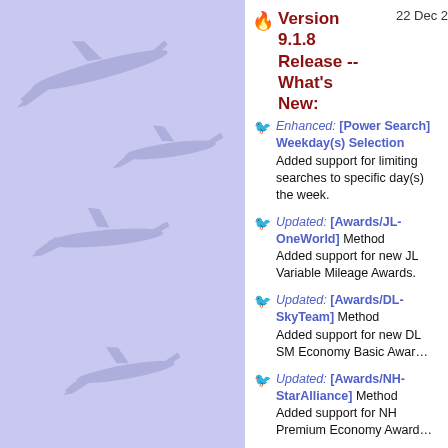[Figure (illustration): Light blue/lavender background panel with faded airplane silhouettes in various positions and sizes]
Version 9.1.8 Release -- What's New:
Enhanced: [Power Search] Weekday(s) Selection — Added support for limiting searches to specific day(s) of the week.
Updated: [Awards/JL-OneWorld] Method — Added support for new JL Variable Mileage Awards.
Updated: [Awards/DL-SkyTeam] Method — Added support for new DL SM Economy Basic Award
Updated: [Awards/NH-StarAlliance] Method — Added support for NH Premium Economy Award
Added: Air Dolomiti [EN] Award Availability
Added: Hawaiian Airlines [HA] Award Availability
Added: Air Italy [IG] Award Availability